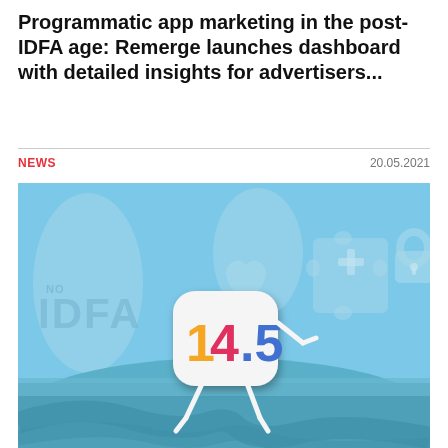Programmatic app marketing in the post-IDFA age: Remerge launches dashboard with detailed insights for advertisers...
NEWS | 20.05.2021
[Figure (illustration): Illustration showing iOS 14.5 character (a rounded white square with colorful '14.5' text and stick legs) walking on a blue landscape with 'NO IDFA' text in background, along with app category icons (heart, puzzle, lock) on a light blue sky background.]